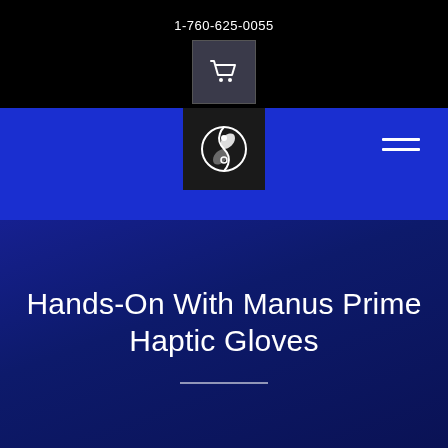1-760-625-0055
[Figure (logo): Shopping cart icon in a dark grey square box]
[Figure (logo): Circular yin-yang style white logo on dark background in blue navigation bar]
Hands-On With Manus Prime Haptic Gloves